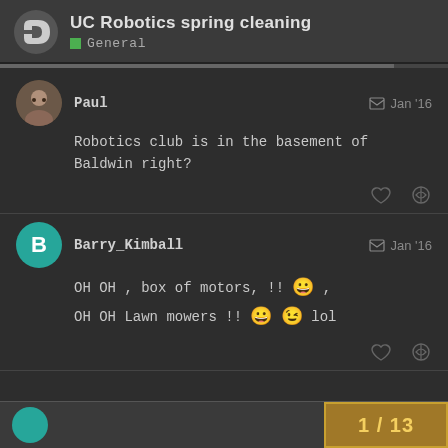UC Robotics spring cleaning — General
Paul — Jan '16
Robotics club is in the basement of Baldwin right?
Barry_Kimball — Jan '16
OH OH , box of motors, !! 😀 ,
OH OH Lawn mowers !! 😀 😉 lol
1 / 13